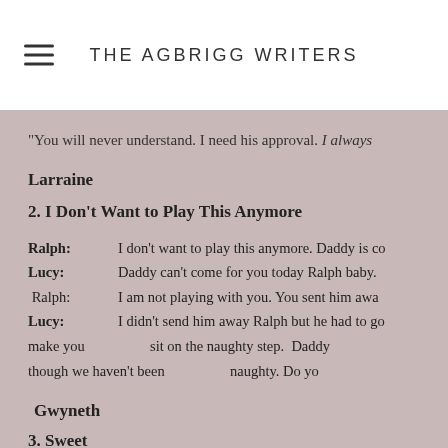THE AGBRIGG WRITERS
“You will never understand. I need his approval. I always
Larraine
2. I Don’t Want to Play This Anymore
Ralph: I don’t want to play this anymore. Daddy is co
Lucy: Daddy can’t come for you today Ralph baby.
Ralph: I am not playing with you. You sent him awa
Lucy: I didn’t send him away Ralph but he had to go
make you sit on the naughty step. Daddy
though we haven’t been naughty. Do yo
Gwyneth
3. Sweet